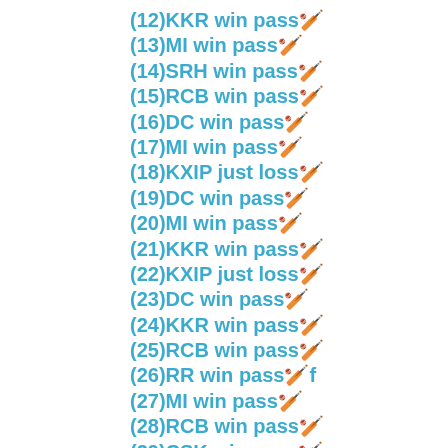(12)KKR win pass🏏
(13)MI win pass🏏
(14)SRH win pass🏏
(15)RCB win pass🏏
(16)DC win pass🏏
(17)MI win pass🏏
(18)KXIP just loss🏏
(19)DC win pass🏏
(20)MI win pass🏏
(21)KKR win pass🏏
(22)KXIP just loss🏏
(23)DC win pass🏏
(24)KKR win pass🏏
(25)RCB win pass🏏
(26)RR win pass🏏f
(27)MI win pass🏏
(28)RCB win pass🏏
(29)CSK win pass🏏
(30)RR just loss🏏
(31)KXIP win pass🏏
(32)MI win pass🏏
(33)RCB win pass🏏